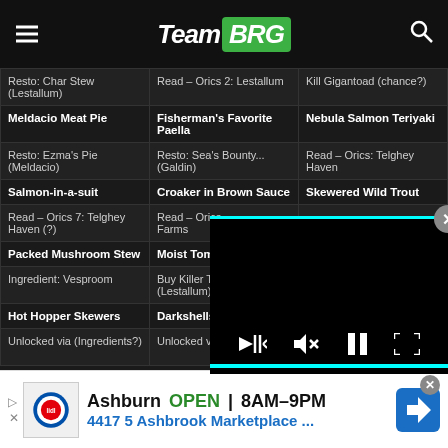TeamBRG
| Resto: Char Stew (Lestallum) | Read – Orics 2: Lestallum | Kill Gigantoad (chance?) |
| --- | --- | --- |
| Meldacio Meat Pie | Fisherman's Favorite Paella | Nebula Salmon Teriyaki |
| Resto: Ezma's Pie (Meldacio) | Resto: Sea's Bounty... (Galdin) | Read – Orics: Telghey Haven |
| Salmon-in-a-suit | Croaker in Brown Sauce | Skewered Wild Trout |
| Read – Orics 7: Telghey Haven (?) | Read – Orics [video overlay] |  |
| Packed Mushroom Stew | Moist Tomat... |  |
| Ingredient: Vesproom | Buy Killer Tom... (Lestallum) |  |
| Hot Hopper Skewers | Darkshells Marinieres | Paella De Pollo |
| Unlocked via (Ingredients?) | Unlocked via (Ingredients?) | Read – Orics 6: Vesperpools |
[Figure (screenshot): Video player overlay with mute/pause/fullscreen controls and cyan progress bar, and a close (X) button]
[Figure (screenshot): Advertisement banner: Lidl store in Ashburn OPEN 8AM-9PM, 4417 5 Ashbrook Marketplace...]